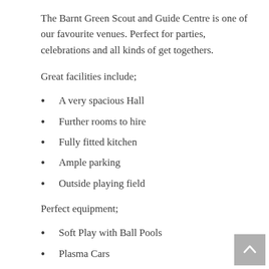The Barnt Green Scout and Guide Centre is one of our favourite venues. Perfect for parties, celebrations and all kinds of get togethers.
Great facilities include;
A very spacious Hall
Further rooms to hire
Fully fitted kitchen
Ample parking
Outside playing field
Perfect equipment;
Soft Play with Ball Pools
Plasma Cars
Indoor Bouncers for younger children
Bounce & Slides with a side slide